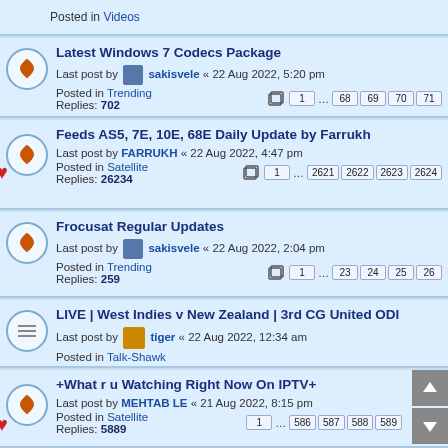Posted in Videos
Latest Windows 7 Codecs Package — Last post by sakisvele « 22 Aug 2022, 5:20 pm — Posted in Trending — Replies: 702 — Pages: 1 … 68 69 70 71
Feeds AS5, 7E, 10E, 68E Daily Update by Farrukh — Last post by FARRUKH « 22 Aug 2022, 4:47 pm — Posted in Satellite — Replies: 26234 — Pages: 1 … 2621 2622 2623 2624
Frocusat Regular Updates — Last post by sakisvele « 22 Aug 2022, 2:04 pm — Posted in Trending — Replies: 259 — Pages: 1 … 23 24 25 26
LIVE | West Indies v New Zealand | 3rd CG United ODI — Last post by tiger « 22 Aug 2022, 12:34 am — Posted in Talk-Shawk
+What r u Watching Right Now On IPTV+ — Last post by MEHTAB LE « 21 Aug 2022, 8:15 pm — Posted in Satellite — Replies: 5889 — Pages: 1 … 586 587 588 589